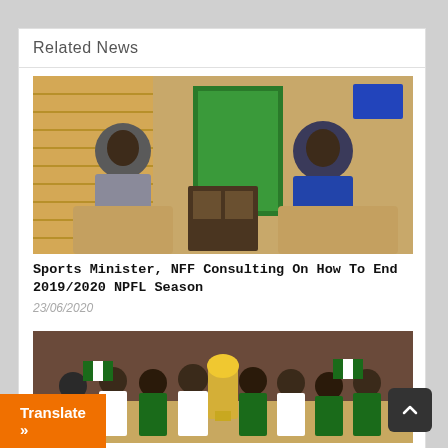Related News
[Figure (photo): Two men in suits seated in an office — one in a grey suit on the left, one in a blue suit on the right, with green NFF branding/decorations visible in the background]
Sports Minister, NFF Consulting On How To End 2019/2020 NPFL Season
23/06/2020
[Figure (photo): Group of women's football players in green and white Nigeria jerseys celebrating with a trophy, holding a large golden cup]